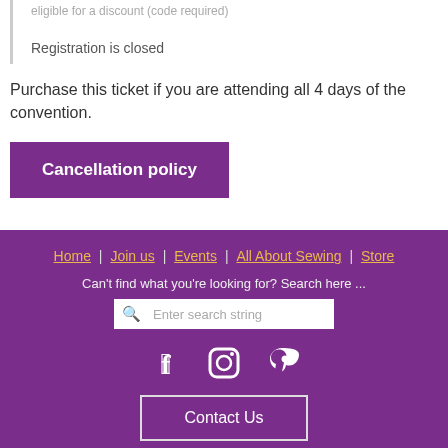eligible for a discount (code required)
Registration is closed
Purchase this ticket if you are attending all 4 days of the convention.
Cancellation policy
Home | Join us | Events | All About Sewing | Store
Can't find what you're looking for? Search here ...
[search box]
[Facebook] [Instagram] [Pinterest]
Contact Us